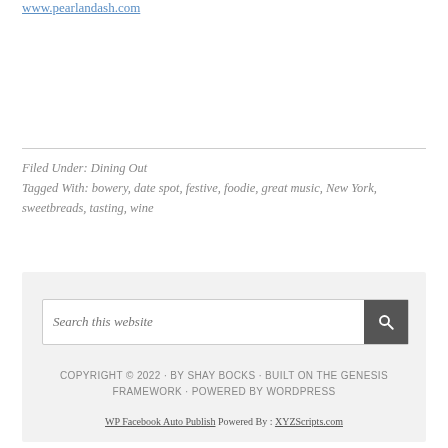www.pearlandash.com
Filed Under: Dining Out
Tagged With: bowery, date spot, festive, foodie, great music, New York, sweetbreads, tasting, wine
Search this website
COPYRIGHT © 2022 · BY SHAY BOCKS · BUILT ON THE GENESIS FRAMEWORK · POWERED BY WORDPRESS
WP Facebook Auto Publish Powered By : XYZScripts.com